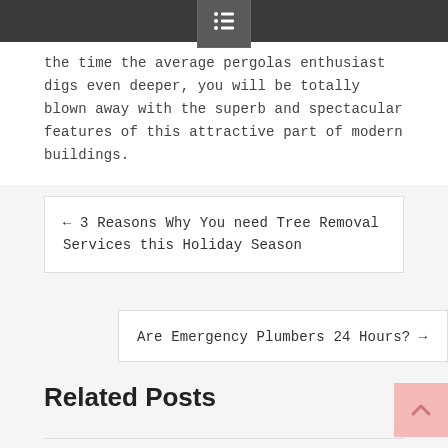[navigation menu icon]
the time the average pergolas enthusiast digs even deeper, you will be totally blown away with the superb and spectacular features of this attractive part of modern buildings.
← 3 Reasons Why You need Tree Removal Services this Holiday Season
Are Emergency Plumbers 24 Hours? →
Related Posts